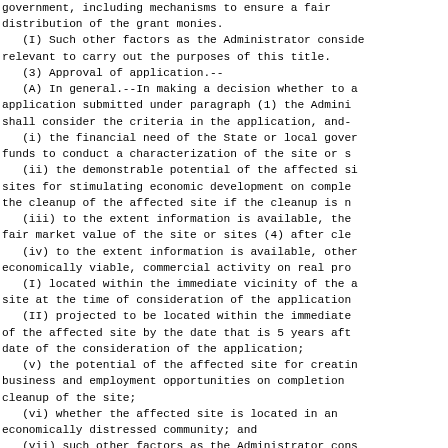government, including mechanisms to ensure a fair distribution of the grant monies.
   (I) Such other factors as the Administrator considers relevant to carry out the purposes of this title.
   (3) Approval of application.--
   (A) In general.--In making a decision whether to approve an application submitted under paragraph (1) the Administrator shall consider the criteria in the application, and--
   (i) the financial need of the State or local government for funds to conduct a characterization of the site or sites;
   (ii) the demonstrable potential of the affected site or sites for stimulating economic development on completion of the cleanup of the affected site if the cleanup is necessary;
   (iii) to the extent information is available, the estimated fair market value of the site or sites (4) after cleanup;
   (iv) to the extent information is available, other economically viable, commercial activity on real property--
   (I) located within the immediate vicinity of the affected site at the time of consideration of the application;
   (II) projected to be located within the immediate vicinity of the affected site by the date that is 5 years after the date of the consideration of the application;
   (v) the potential of the affected site for creating new business and employment opportunities on completion of the cleanup of the site;
   (vi) whether the affected site is located in an economically distressed community; and
   (vii) such other factors as the Administrator considers relevant to carry out the purposes of the grant program under this section.
   (B) Grant conditions.-- As a condition for funding